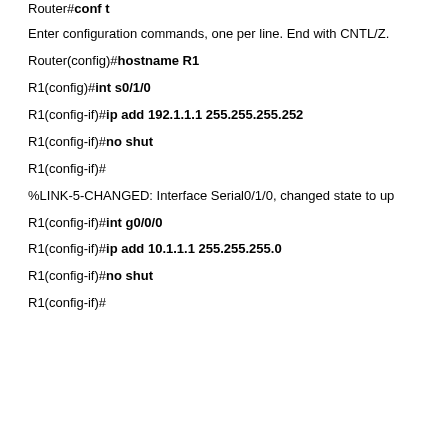Router#conf t
Enter configuration commands, one per line. End with CNTL/Z.
Router(config)#hostname R1
R1(config)#int s0/1/0
R1(config-if)#ip add 192.1.1.1 255.255.255.252
R1(config-if)#no shut
R1(config-if)#
%LINK-5-CHANGED: Interface Serial0/1/0, changed state to up
R1(config-if)#int g0/0/0
R1(config-if)#ip add 10.1.1.1 255.255.255.0
R1(config-if)#no shut
R1(config-if)#